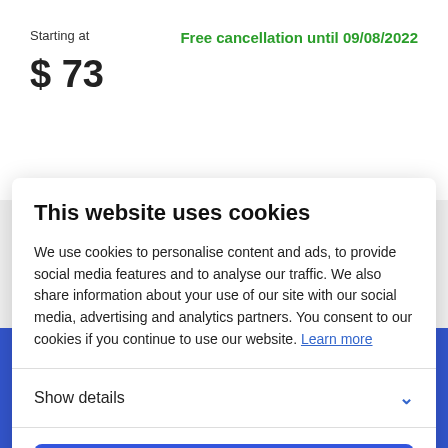Starting at
Free cancellation until 09/08/2022
$ 73
This website uses cookies
We use cookies to personalise content and ads, to provide social media features and to analyse our traffic. We also share information about your use of our site with our social media, advertising and analytics partners. You consent to our cookies if you continue to use our website. Learn more
Show details
Allow all cookies